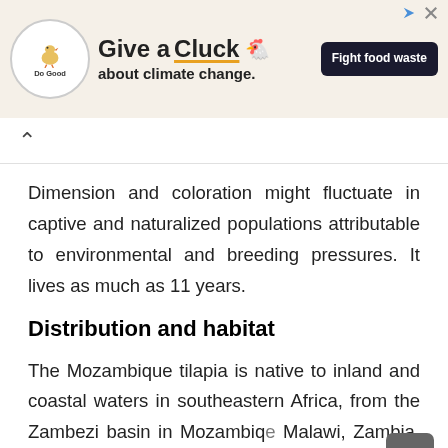[Figure (screenshot): Advertisement banner for 'Do Good' - Give a Cluck about climate change. Fight food waste.]
Dimension and coloration might fluctuate in captive and naturalized populations attributable to environmental and breeding pressures. It lives as much as 11 years.
Distribution and habitat
The Mozambique tilapia is native to inland and coastal waters in southeastern Africa, from the Zambezi basin in Mozambique, Malawi, Zambia, and Zimbabwe to the